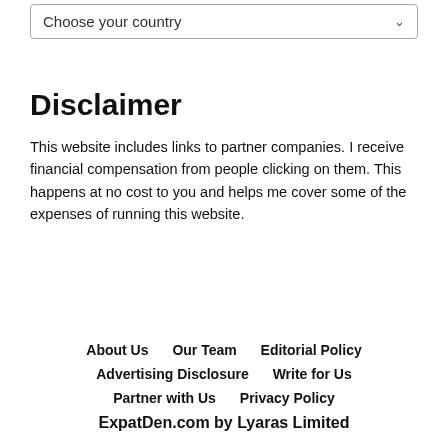[Figure (other): Dropdown selector input with placeholder text 'Choose your country' and a chevron arrow on the right]
Disclaimer
This website includes links to partner companies. I receive financial compensation from people clicking on them. This happens at no cost to you and helps me cover some of the expenses of running this website.
About Us   Our Team   Editorial Policy   Advertising Disclosure   Write for Us   Partner with Us   Privacy Policy   ExpatDen.com by Lyaras Limited